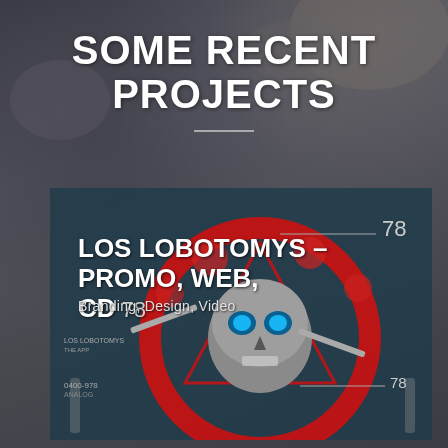SOME RECENT PROJECTS
[Figure (illustration): A dark cyberpunk/mechanical skull artwork with red circular gear motif and triangle, blue glowing eyes, guitars, gears and syringes, overlaid with UI/HUD-style elements including the number 78 on a teal background panel.]
LOS LOBOTOMYS – PROMO, WEB, CD
Branding, Design, Video